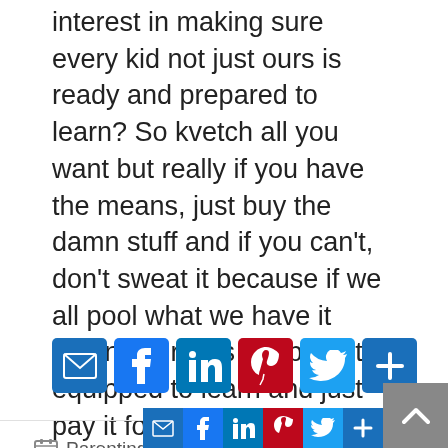interest in making sure every kid not just ours is ready and prepared to learn? So kvetch all you want but really if you have the means, just buy the damn stuff and if you can't, don't sweat it because if we all pool what we have it means our kids will be better equipped to learn and just pay it forward when you can!
[Figure (infographic): Social sharing buttons: Email, Facebook, LinkedIn, Pinterest, Twitter, Share]
Parenting, Random babble
back to school, school supplies
< White Ken cannot love Brown Barbie but he does dig on Ted!
Living your values – is the cost too much?